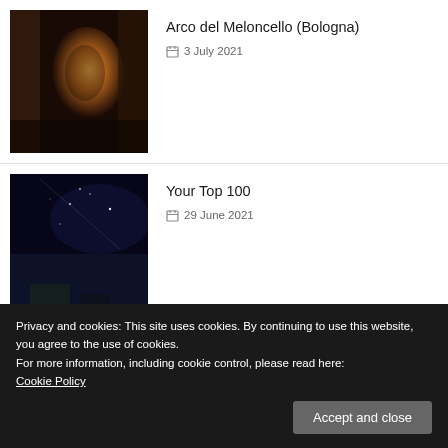[Figure (photo): Photo of Arco del Meloncello arch in Bologna at night with warm orange glow]
Arco del Meloncello (Bologna)
3 July 2021
[Figure (photo): Night sky photo with milky way visible over dark landscape]
Your Top 100
29 June 2021
[Figure (photo): Aerial view of historic stone buildings and ruins at Murlo surrounded by green trees]
We introduce you to the places of Murlo
11 June 2021
Privacy and cookies: This site uses cookies. By continuing to use this website, you agree to the use of cookies.
For more information, including cookie control, please read here:
Cookie Policy
Accept and close